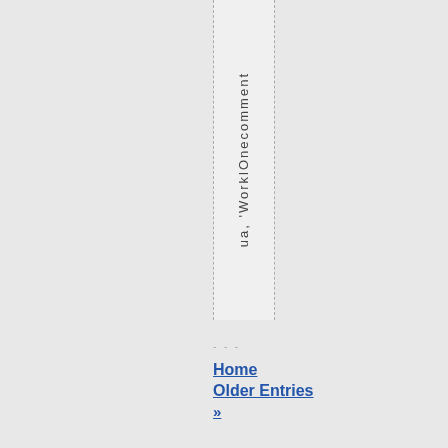ua, 'WorklOnecomment
---
Home Older Entries »